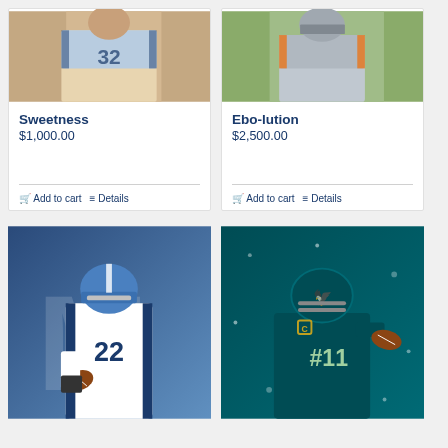[Figure (illustration): Painting of NFL football player #32 in Bears uniform, close-up action shot]
Sweetness
$1,000.00
Add to cart
Details
[Figure (illustration): Painting of NFL football player in gray and orange uniform, action shot]
Ebo-lution
$2,500.00
Add to cart
Details
[Figure (illustration): Painting of Dallas Cowboys player #22 in white uniform with blue helmet, carrying football]
[Figure (illustration): Painting of Philadelphia Eagles quarterback in teal uniform with captain patch, throwing football]